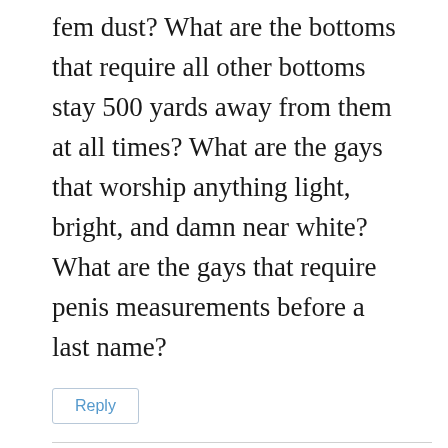fem dust? What are the bottoms that require all other bottoms stay 500 yards away from them at all times? What are the gays that worship anything light, bright, and damn near white? What are the gays that require penis measurements before a last name?
Reply
tajan
June 27, 2015 at 1:28 am
Jay, Bro they not ready, you preaching up in here tonight, those bullets gone hit somebody.